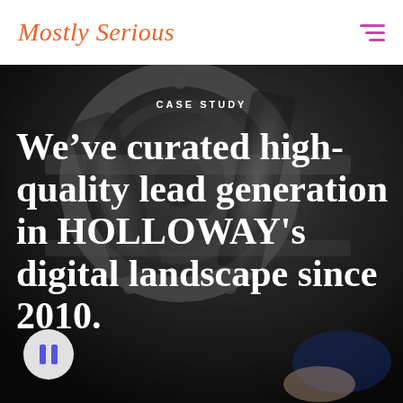Mostly Serious
[Figure (photo): Close-up photograph of metallic industrial machinery, gears or pipe fittings, with a person's hand visible. Used as hero background image for a case study page.]
CASE STUDY
We've curated high-quality lead generation in HOLLOWAY's digital landscape since 2010.